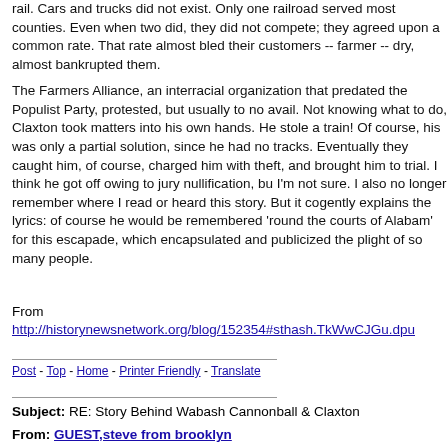rail. Cars and trucks did not exist. Only one railroad served most counties. Even when two did, they did not compete; they agreed upon a common rate. That rate almost bled their customers -- farmers -- dry, almost bankrupted them.
The Farmers Alliance, an interracial organization that predated the Populist Party, protested, but usually to no avail. Not knowing what to do, Claxton took matters into his own hands. He stole a train! Of course, his was only a partial solution, since he had no tracks. Eventually they caught him, of course, charged him with theft, and brought him to trial. I think he got off owing to jury nullification, but I'm not sure. I also no longer remember where I read or heard this story. But it cogently explains the lyrics: of course he would be remembered 'round the courts of Alabam' for this escapade, which encapsulated and publicized the plight of so many people.
From
http://historynewsnetwork.org/blog/152354#sthash.TkWwCJGu.dpu
Post - Top - Home - Printer Friendly - Translate
Subject: RE: Story Behind Wabash Cannonball & Claxton
From: GUEST,steve from brooklyn